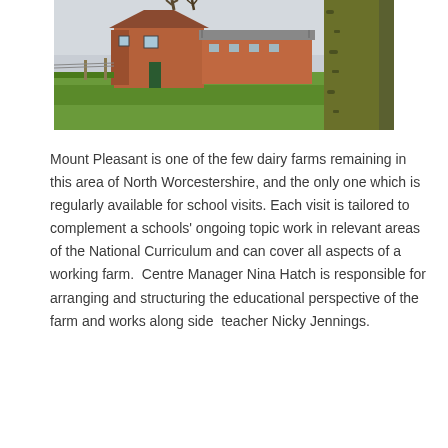[Figure (photo): Photograph of Mount Pleasant farm — a red brick farmhouse and outbuildings set among green fields, with a large moss-covered tree trunk in the right foreground and bare winter trees behind the building under an overcast sky.]
Mount Pleasant is one of the few dairy farms remaining in this area of North Worcestershire, and the only one which is regularly available for school visits. Each visit is tailored to complement a schools' ongoing topic work in relevant areas of the National Curriculum and can cover all aspects of a working farm.  Centre Manager Nina Hatch is responsible for arranging and structuring the educational perspective of the farm and works along side  teacher Nicky Jennings.